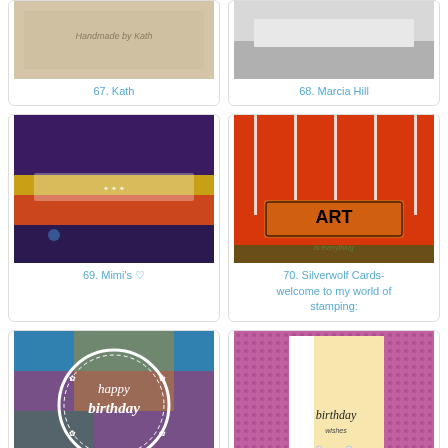[Figure (photo): Handmade card by Kath, beige card with text 'Handmade by Kath']
67. Kath
[Figure (photo): Handmade card by Marcia Hill, gray/white card]
68. Marcia Hill
[Figure (photo): Colorful abstract splatter card by Mimi's]
69. Mimi's ♡
[Figure (photo): Orange/red art card with ART text by Silverwolf Cards]
70. Silverwolf Cards- welcome to my world of stamping:
[Figure (photo): Happy birthday card with colorful background by Karen Hasheck]
71. Karen Hasheck
[Figure (photo): Birthday wishes card with pink and yellow tones by Ingrid Blackburn]
72. Ingrid Blackburn
[Figure (photo): Partial card visible at bottom left]
[Figure (photo): Partial card visible at bottom right]